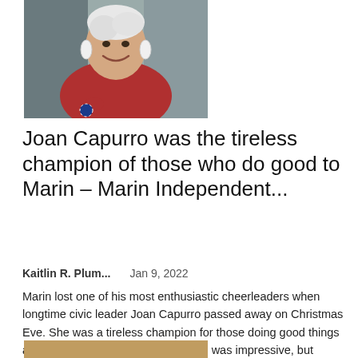[Figure (photo): Portrait photo of an older woman with white hair, smiling, wearing red top and large earrings, holding what appears to a small ornament]
Joan Capurro was the tireless champion of those who do good to Marin – Marin Independent...
Kaitlin R. Plum...    Jan 9, 2022
Marin lost one of his most enthusiastic cheerleaders when longtime civic leader Joan Capurro passed away on Christmas Eve. She was a tireless champion for those doing good things across our country. Her own resume was impressive, but she...
[Figure (photo): Partial image visible at bottom of page, cropped]